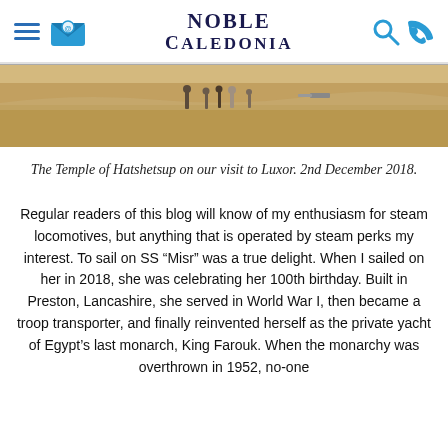Noble Caledonia
[Figure (photo): Wide sandy desert landscape with people walking, possibly at the Temple of Hatshetsup near Luxor. Taken on 2nd December 2018.]
The Temple of Hatshetsup on our visit to Luxor. 2nd December 2018.
Regular readers of this blog will know of my enthusiasm for steam locomotives, but anything that is operated by steam perks my interest. To sail on SS “Misr” was a true delight. When I sailed on her in 2018, she was celebrating her 100th birthday. Built in Preston, Lancashire, she served in World War I, then became a troop transporter, and finally reinvented herself as the private yacht of Egypt’s last monarch, King Farouk. When the monarchy was overthrown in 1952, no-one